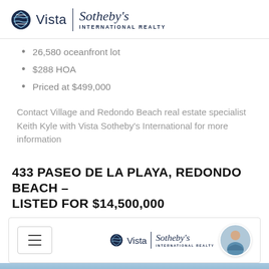[Figure (logo): Vista Sotheby's International Realty logo with globe icon]
26,580 oceanfront lot
$288 HOA
Priced at $499,000
Contact Village and Redondo Beach real estate specialist Keith Kyle with Vista Sotheby's International for more information
433 PASEO DE LA PLAYA, REDONDO BEACH – LISTED FOR $14,500,000
[Figure (logo): Navigation bar with hamburger menu and Vista Sotheby's International Realty logo and agent headshot photo]
[Figure (photo): Blue ocean/sky image strip at bottom of page]